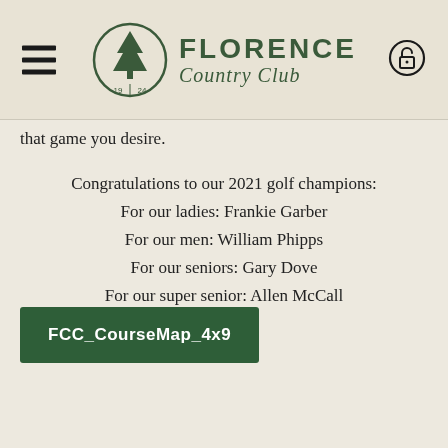Florence Country Club
that game you desire.
Congratulations to our 2021 golf champions:
For our ladies: Frankie Garber
For our men: William Phipps
For our seniors: Gary Dove
For our super senior: Allen McCall
FCC_CourseMap_4x9